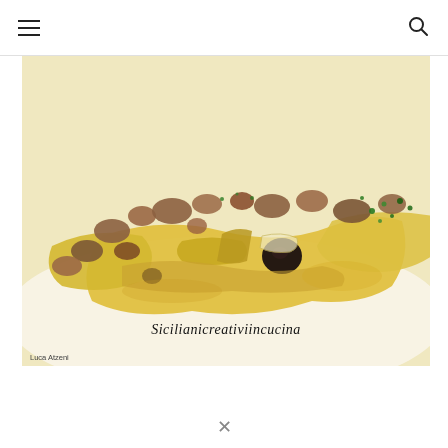Navigation menu and search icon
[Figure (photo): Close-up food photograph of pasta (possibly pappardelle or lasagne sheets) with meat ragù, mushrooms, olives and herbs in a golden sauce on a white plate. Watermark text reads 'Sicilianicreativiincucina' and photo credit 'Luca Atzeni' visible in lower portion of image.]
X